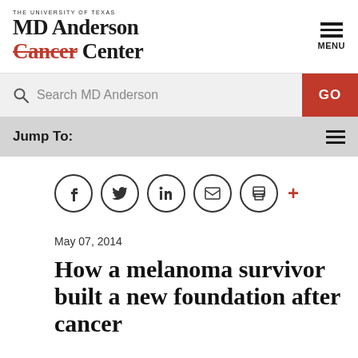[Figure (logo): MD Anderson Cancer Center logo with The University of Texas text above]
[Figure (other): Hamburger menu icon with MENU label]
Search MD Anderson
GO
Jump To:
[Figure (other): Social sharing icons: Facebook, Twitter, LinkedIn, email, print, plus]
May 07, 2014
How a melanoma survivor built a new foundation after cancer